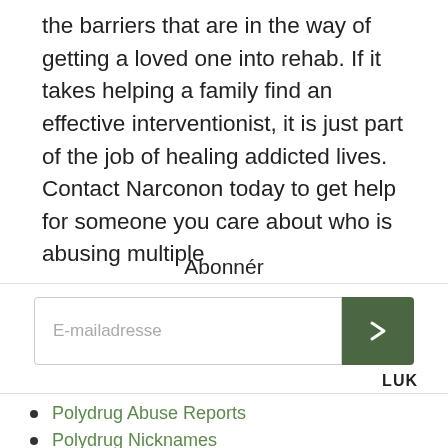the barriers that are in the way of getting a loved one into rehab. If it takes helping a family find an effective interventionist, it is just part of the job of healing addicted lives. Contact Narconon today to get help for someone you care about who is abusing multiple
Abonnér
[Figure (other): Email subscription form with text input labeled 'E-mailadresse' and a green submit button with a right arrow chevron icon. A 'LUK' close label appears below right.]
Polydrug Abuse Reports
Polydrug Nicknames
Tilmeld dig for at